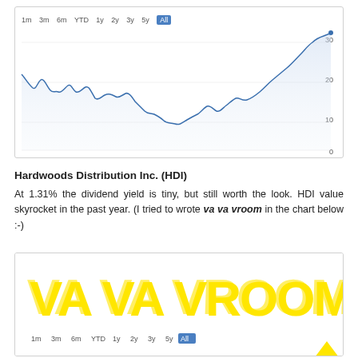[Figure (continuous-plot): Stock price line chart for HDI (All time period selected). Y-axis shows values 0, 10, 20, 30. The line starts around 20, dips to about 5-6, fluctuates in 8-15 range through the middle, then rises sharply to about 30-32 at the right end. Time buttons: 1m, 3m, 6m, YTD, 1y, 2y, 3y, 5y, All (All is highlighted in blue).]
Hardwoods Distribution Inc. (HDI)
At 1.31% the dividend yield is tiny, but still worth the look. HDI value skyrocket in the past year. (I tried to wrote va va vroom in the chart below :-)
[Figure (continuous-plot): Stock chart with 'VA VA VROOM' written in large yellow hand-drawn letters overlaid on the chart. Time buttons visible at bottom: 1m, 3m, 6m, YTD, 1y, 2y, 3y, 5y, All (All highlighted in blue). A yellow arrow/marker is visible at the bottom right.]